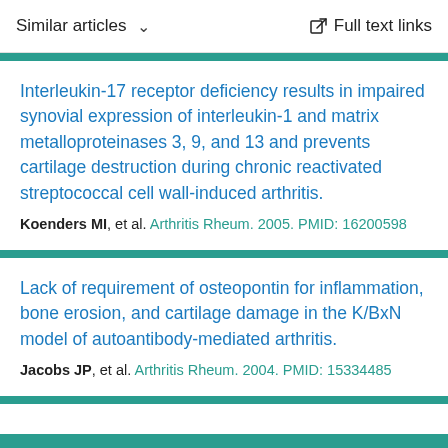Similar articles   Full text links
Interleukin-17 receptor deficiency results in impaired synovial expression of interleukin-1 and matrix metalloproteinases 3, 9, and 13 and prevents cartilage destruction during chronic reactivated streptococcal cell wall-induced arthritis.
Koenders MI, et al. Arthritis Rheum. 2005. PMID: 16200598
Lack of requirement of osteopontin for inflammation, bone erosion, and cartilage damage in the K/BxN model of autoantibody-mediated arthritis.
Jacobs JP, et al. Arthritis Rheum. 2004. PMID: 15334485